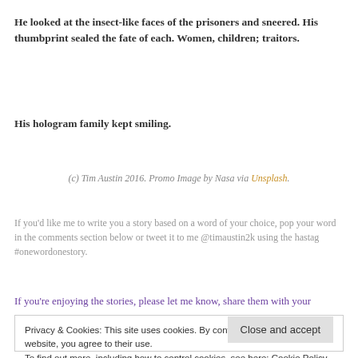He looked at the insect-like faces of the prisoners and sneered.  His thumbprint sealed the fate of each.  Women, children; traitors.
His hologram family kept smiling.
(c) Tim Austin 2016.  Promo Image by Nasa via Unsplash.
If you'd like me to write you a story based on a word of your choice, pop your word in the comments section below or tweet it to me @timaustin2k using the hastag #onewordonestory.
If you're enjoying the stories, please let me know, share them with your
Privacy & Cookies: This site uses cookies. By continuing to use this website, you agree to their use.
To find out more, including how to control cookies, see here: Cookie Policy